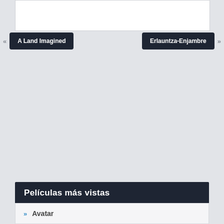[Figure (screenshot): White content box at the top of the page, partially visible]
« A Land Imagined
Erlauntza-Enjambre »
Películas más vistas
» Avatar